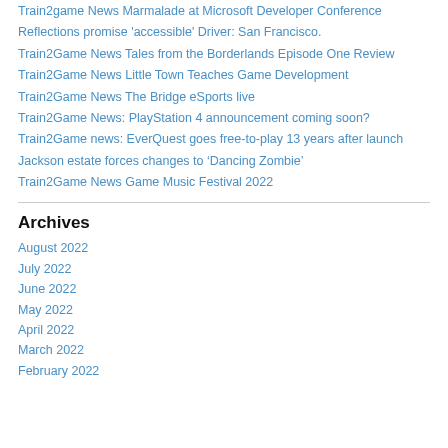Train2game News Marmalade at Microsoft Developer Conference
Reflections promise 'accessible' Driver: San Francisco.
Train2Game News Tales from the Borderlands Episode One Review
Train2Game News Little Town Teaches Game Development
Train2Game News The Bridge eSports live
Train2Game News: PlayStation 4 announcement coming soon?
Train2Game news: EverQuest goes free-to-play 13 years after launch
Jackson estate forces changes to ‘Dancing Zombie’
Train2Game News Game Music Festival 2022
Archives
August 2022
July 2022
June 2022
May 2022
April 2022
March 2022
February 2022